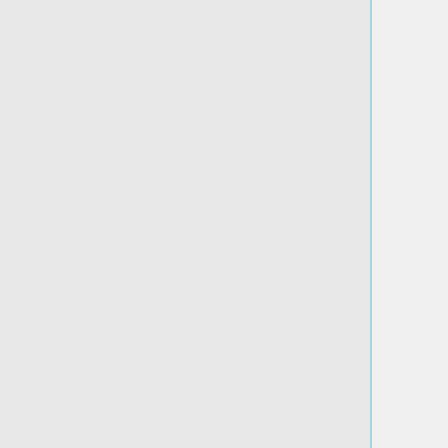| outcrop. Boreholes are typically 30 – 100 m deep, with water levels sometimes less than 10 m depth but more commonly greater than 20 m depth. Yields range from 0.1 to 5.9 l/s. | outcrop. Boreholes are typically 30 – 100 m deep, with water levels sometimes less than 10 m depth but more commonly greater than 20 m depth. Yields range from 0.1 to 5.9 l/s. |
| ||This | ||This |